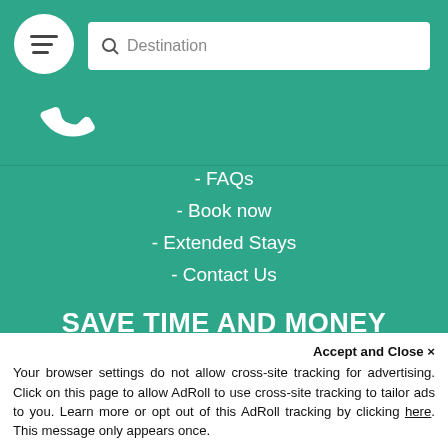[Figure (screenshot): Menu hamburger button (white circle with three horizontal lines) and a search bar with magnifier icon and 'Destination' placeholder on teal background]
[Figure (illustration): White phone/call icon on teal background]
- FAQs
- Book now
- Extended Stays
- Contact Us
SAVE TIME AND MONEY
Join our newsletter and we will send you our best offers
Email
Accept and Close ×
Your browser settings do not allow cross-site tracking for advertising. Click on this page to allow AdRoll to use cross-site tracking to tailor ads to you. Learn more or opt out of this AdRoll tracking by clicking here. This message only appears once.